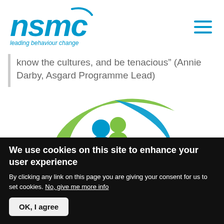[Figure (logo): NSMC logo with blue italic text 'nsmc' and tagline 'leading behaviour change' in blue italic]
know the cultures, and be tenacious” (Annie Darby, Asgard Programme Lead)
[Figure (logo): NSMC circular logo with green and blue swoosh arcs and two stylized human figures (one blue, one green) in the center]
We use cookies on this site to enhance your user experience
By clicking any link on this page you are giving your consent for us to set cookies. No, give me more info
OK, I agree